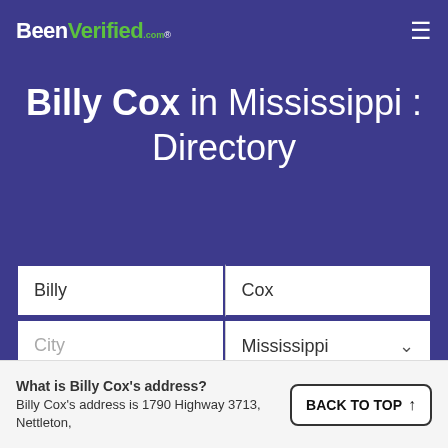BeenVerified.com
Billy Cox in Mississippi : Directory
Billy | Cox | City | Mississippi | SEARCH
What is Billy Cox's address? Billy Cox's address is 1790 Highway 3713, Nettleton,
BACK TO TOP ↑